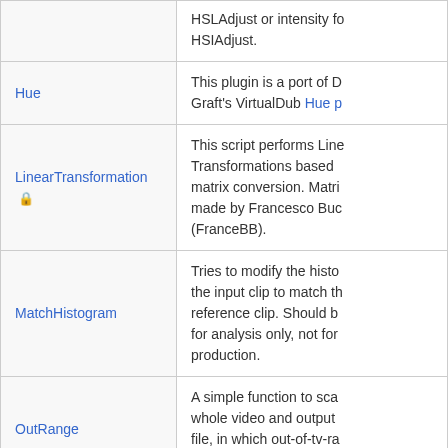| Plugin | Description |
| --- | --- |
| (continued) | HSLAdjust or intensity fo HSIAdjust. |
| Hue | This plugin is a port of D Graft's VirtualDub Hue p |
| LinearTransformation 🔒 | This script performs Line Transformations based matrix conversion. Matri made by Francesco Buc (FranceBB). |
| MatchHistogram | Tries to modify the histo the input clip to match th reference clip. Should b for analysis only, not for production. |
| OutRange | A simple function to sca whole video and output file, in which out-of-tv-ra frames are logged. |
| RGBAdapt | Another RGB color corr plugin, it also also inclu graffer. |